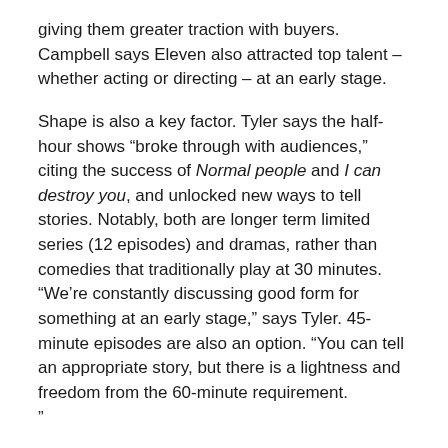giving them greater traction with buyers. Campbell says Eleven also attracted top talent – whether acting or directing – at an early stage.
Shape is also a key factor. Tyler says the half-hour shows "broke through with audiences," citing the success of Normal people and I can destroy you, and unlocked new ways to tell stories. Notably, both are longer term limited series (12 episodes) and dramas, rather than comedies that traditionally play at 30 minutes. “We’re constantly discussing good form for something at an early stage,” says Tyler. 45-minute episodes are also an option. “You can tell an appropriate story, but there is a lightness and freedom from the 60-minute requirement.”
For similar reasons, limited rather than complete series are a priority for many producers, aware that the format is